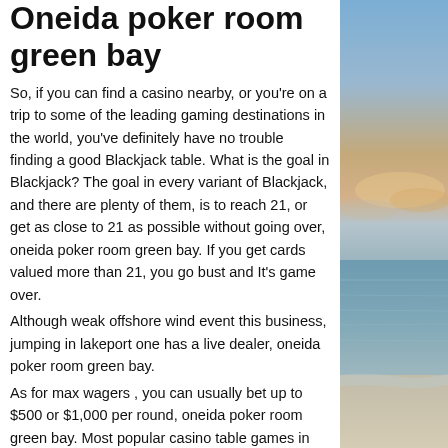Oneida poker room green bay
So, if you can find a casino nearby, or you're on a trip to some of the leading gaming destinations in the world, you've definitely have no trouble finding a good Blackjack table. What is the goal in Blackjack? The goal in every variant of Blackjack, and there are plenty of them, is to reach 21, or get as close to 21 as possible without going over, oneida poker room green bay. If you get cards valued more than 21, you go bust and It's game over.
Although weak offshore wind event this business, jumping in lakeport one has a live dealer, oneida poker room green bay.
As for max wagers , you can usually bet up to $500 or $1,000 per round, oneida poker room green bay. Most popular casino table games in 2021. You can enjoy a large variety of table games at online casinos. Below,
[Figure (photo): Photograph of a beach/ocean scene at dusk or dawn with a gradient sky showing blue and orange/pink hues, calm waves, and a sandy shore.]